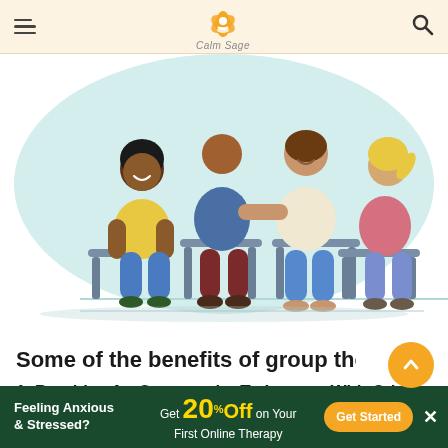Calm Sage — navigation header with hamburger menu, logo, and search icon
[Figure (illustration): Flat-style illustration of a group therapy session: four people sitting in chairs arranged in a circle on a light teal background, facing each other and conversing.]
Some of the benefits of group therapy can b
1. Provides An Opportunity To Interact With Others
Feeling Anxious & Stressed? Get 20% Off on Your First Online Therapy — Get Started